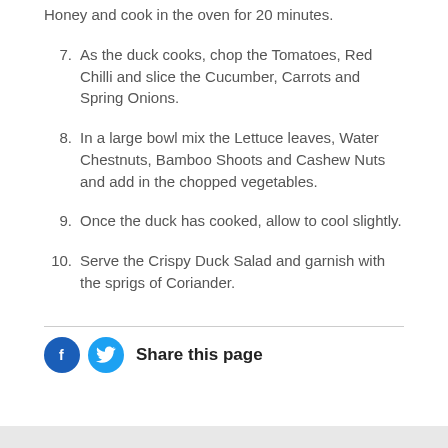Honey and cook in the oven for 20 minutes.
7.  As the duck cooks, chop the Tomatoes, Red Chilli and slice the Cucumber, Carrots and Spring Onions.
8.  In a large bowl mix the Lettuce leaves, Water Chestnuts, Bamboo Shoots and Cashew Nuts and add in the chopped vegetables.
9.  Once the duck has cooked, allow to cool slightly.
10. Serve the Crispy Duck Salad and garnish with the sprigs of Coriander.
Share this page